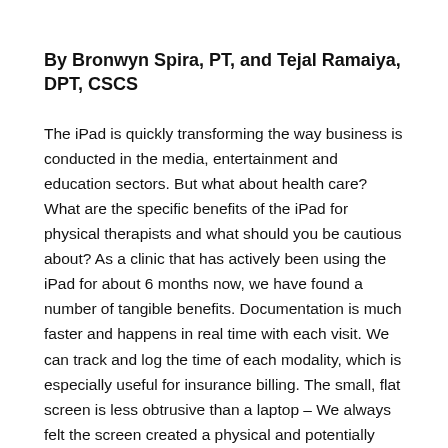By Bronwyn Spira, PT, and Tejal Ramaiya, DPT, CSCS
The iPad is quickly transforming the way business is conducted in the media, entertainment and education sectors. But what about health care? What are the specific benefits of the iPad for physical therapists and what should you be cautious about? As a clinic that has actively been using the iPad for about 6 months now, we have found a number of tangible benefits. Documentation is much faster and happens in real time with each visit. We can track and log the time of each modality, which is especially useful for insurance billing. The small, flat screen is less obtrusive than a laptop – We always felt the screen created a physical and potentially emotional barrier between my patients and myself. We also like that the ipad can be easily handed to the patient